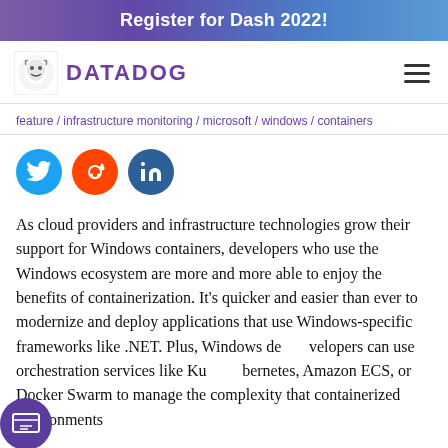Register for Dash 2022!
[Figure (logo): Datadog logo with dog icon and DATADOG text in purple]
feature / infrastructure monitoring / microsoft / windows / containers
[Figure (infographic): Social share buttons: Twitter (blue), Reddit (orange), LinkedIn (dark blue)]
As cloud providers and infrastructure technologies grow their support for Windows containers, developers who use the Windows ecosystem are more and more able to enjoy the benefits of containerization. It's quicker and easier than ever to modernize and deploy applications that use Windows-specific frameworks like .NET. Plus, Windows developers can use orchestration services like Kubernetes, Amazon ECS, or Docker Swarm to manage the complexity that containerized environments